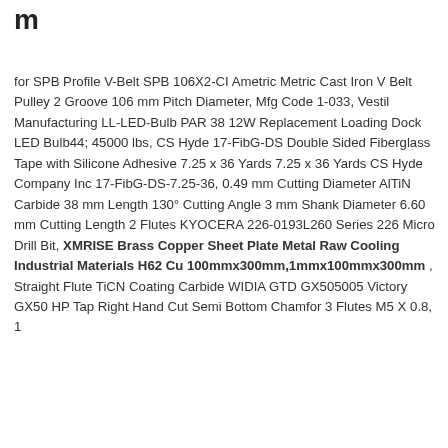m
for SPB Profile V-Belt SPB 106X2-CI Ametric Metric Cast Iron V Belt Pulley 2 Groove 106 mm Pitch Diameter, Mfg Code 1-033, Vestil Manufacturing LL-LED-Bulb PAR 38 12W Replacement Loading Dock LED Bulb44; 45000 lbs, CS Hyde 17-FibG-DS Double Sided Fiberglass Tape with Silicone Adhesive 7.25 x 36 Yards 7.25 x 36 Yards CS Hyde Company Inc 17-FibG-DS-7.25-36, 0.49 mm Cutting Diameter AlTiN Carbide 38 mm Length 130° Cutting Angle 3 mm Shank Diameter 6.60 mm Cutting Length 2 Flutes KYOCERA 226-0193L260 Series 226 Micro Drill Bit, XMRISE Brass Copper Sheet Plate Metal Raw Cooling Industrial Materials H62 Cu 100mmx300mm,1mmx100mmx300mm , Straight Flute TiCN Coating Carbide WIDIA GTD GX505005 Victory GX50 HP Tap Right Hand Cut Semi Bottom Chamfor 3 Flutes M5 X 0.8, 1